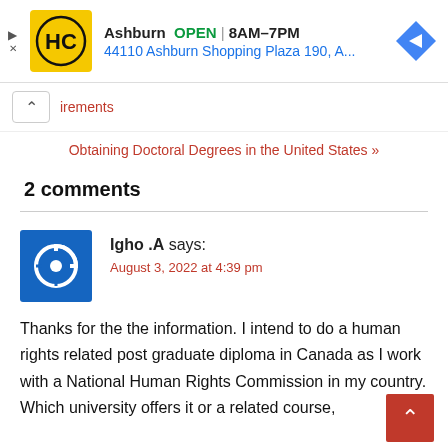[Figure (other): Advertisement banner for HC (Hindustan Copper or similar) showing logo, OPEN status, hours 8AM-7PM, address 44110 Ashburn Shopping Plaza 190, A..., and navigation arrow icon]
irements
Obtaining Doctoral Degrees in the United States »
2 comments
Igho .A says:
August 3, 2022 at 4:39 pm
Thanks for the the information. I intend to do a human rights related post graduate diploma in Canada as I work with a National Human Rights Commission in my country. Which university offers it or a related course,